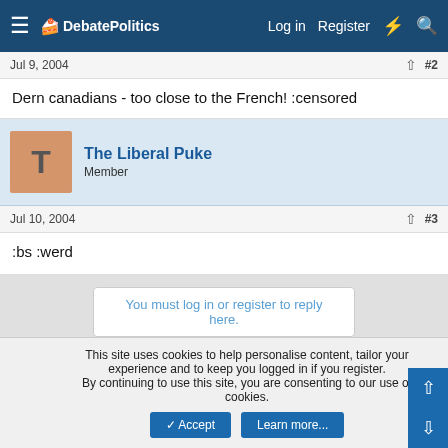DebatePolitics — Log in  Register
Jul 9, 2004  #2
Dern canadians - too close to the French! :censored
The Liberal Puke
Member
Jul 10, 2004  #3
:bs :werd
You must log in or register to reply here.
Share:
This site uses cookies to help personalise content, tailor your experience and to keep you logged in if you register.
By continuing to use this site, you are consenting to our use of cookies.